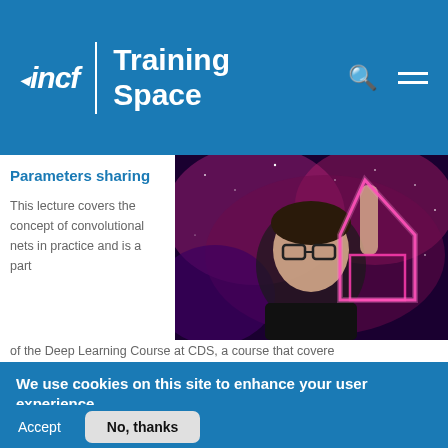incf | Training Space
Parameters sharing
This lecture covers the concept of convolutional nets in practice and is a part of the Deep Learning Course at CDS, a course that covere
[Figure (photo): Person with glasses holding up glowing pink neon shape against a cosmic/space background]
We use cookies on this site to enhance your user experience
By clicking any link or button on the website the visitor accepts the cookie policy. More info
Accept
No, thanks